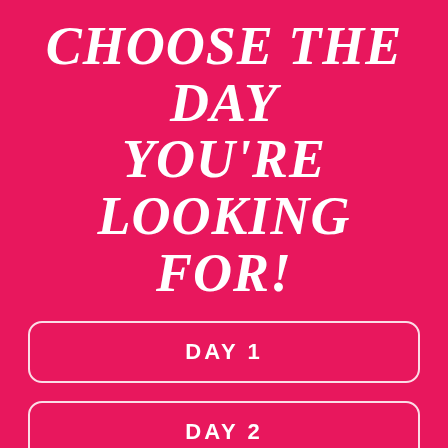CHOOSE THE DAY YOU'RE LOOKING FOR!
DAY 1
DAY 2
DAY 3
DAY 4